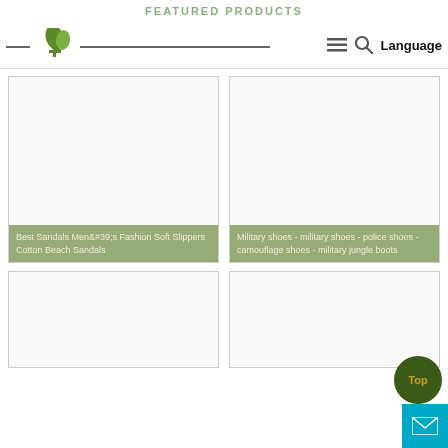FEATURED PRODUCTS — navigation header with logo, hamburger menu, search icon, Language
FEATURED PRODUCTS
[Figure (photo): Product image placeholder — white/light grey rectangle]
Best Sandals Men&#39;s Fashion Soft Slippers Cotton Beach Sandals
[Figure (photo): Product image placeholder — white/light grey rectangle]
Military shoes - military shoes - police shoes - camouflage shoes - military jungle boots
[Figure (photo): Product image placeholder — white/light grey rectangle (partial, bottom of page)]
[Figure (photo): Product image placeholder — white/light grey rectangle (partial, bottom of page)]